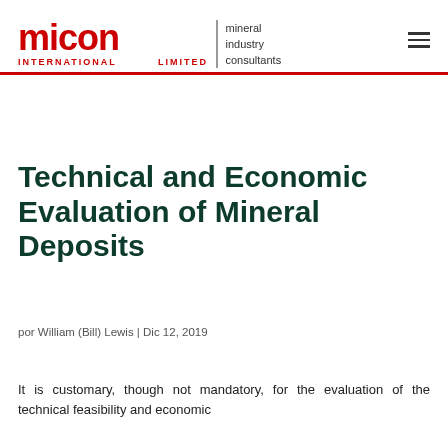micon INTERNATIONAL LIMITED | mineral industry consultants
Technical and Economic Evaluation of Mineral Deposits
por William (Bill) Lewis | Dic 12, 2019
It is customary, though not mandatory, for the evaluation of the technical feasibility and economic